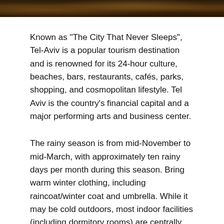[Figure (photo): Nighttime city scene, dark warm-toned photograph strip of Tel Aviv]
Known as "The City That Never Sleeps", Tel-Aviv is a popular tourism destination and is renowned for its 24-hour culture, beaches, bars, restaurants, cafés, parks, shopping, and cosmopolitan lifestyle. Tel Aviv is the country's financial capital and a major performing arts and business center.
The rainy season is from mid-November to mid-March, with approximately ten rainy days per month during this season. Bring warm winter clothing, including raincoat/winter coat and umbrella. While it may be cold outdoors, most indoor facilities (including dormitory rooms) are centrally heated. The summers are hot, and the humidity is high, especially around July-September, so bring light-weight clothing.
Tel-Aviv is divided to a few main districts that have formed over the city's short history. Amongst them you may find:
Jaffa the ancient port city. This area is traditionally made